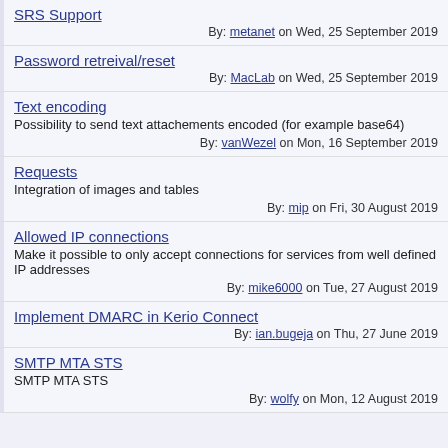SRS Support
By: metanet on Wed, 25 September 2019
Password retreival/reset
By: MacLab on Wed, 25 September 2019
Text encoding
Possibility to send text attachements encoded (for example base64)
By: vanWezel on Mon, 16 September 2019
Requests
Integration of images and tables
By: mip on Fri, 30 August 2019
Allowed IP connections
Make it possible to only accept connections for services from well defined IP addresses
By: mike6000 on Tue, 27 August 2019
Implement DMARC in Kerio Connect
By: ian.bugeja on Thu, 27 June 2019
SMTP MTA STS
SMTP MTA STS
By: wolfy on Mon, 12 August 2019